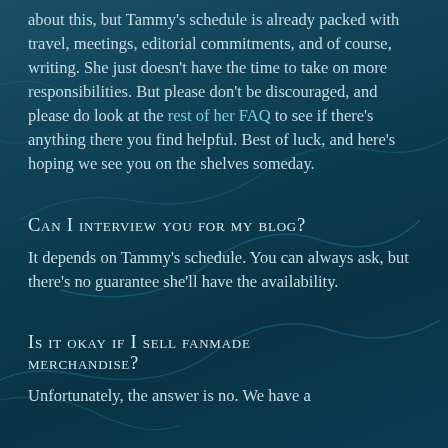about this, but Tammy's schedule is already packed with travel, meetings, editorial commitments, and of course, writing. She just doesn't have the time to take on more responsibilities. But please don't be discouraged, and please do look at the rest of her FAQ to see if there's anything there you find helpful. Best of luck, and here's hoping we see you on the shelves someday.
Can I interview you for my blog?
It depends on Tammy's schedule. You can always ask, but there's no guarantee she'll have the availability.
Is it okay if I sell fanmade merchandise?
Unfortunately, the answer is no. We have a